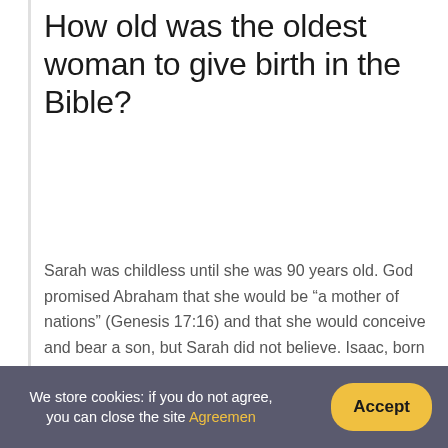How old was the oldest woman to give birth in the Bible?
Sarah was childless until she was 90 years old. God promised Abraham that she would be “a mother of nations” (Genesis 17:16) and that she would conceive and bear a son, but Sarah did not believe. Isaac, born to Sarah and Abraham in their old age, was the fulfillment of God’s promise to them.
[Figure (screenshot): Video thumbnail with dark background showing text 'Are Christian Couples Required' overlaid, a YouTube play button, an expand icon with white asterisk on red, and hands in background]
We store cookies: if you do not agree, you can close the site Agreement